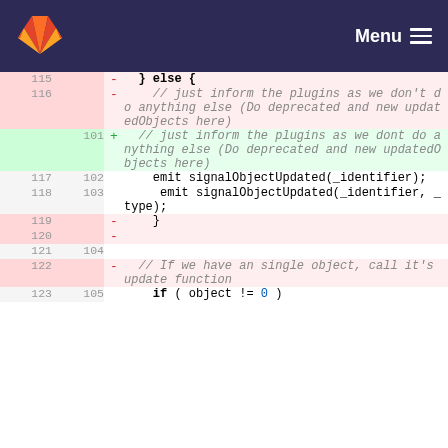[Figure (screenshot): GitLab navigation header bar with logo and Menu button on dark blue background]
Code diff view showing lines 115-123 (old) and 101-105 (new) of a source file. Removed lines (pink): line 115: '} else {', line 116: '// just inform the plugins as we don't do anything else (Do deprecated and new updatedObjects here)', line 119: '}', line 120: (empty -). Added line (green): 101: '// just inform the plugins as we dont do anything else (Do deprecated and new updatedObjects here)'. Neutral lines: 117/102: 'emit signalObjectUpdated(_identifier);', 118/103: 'emit signalObjectUpdated(_identifier, _type);', 121/104: (empty), 122/(removed): '// If we have an single object, call it's update function', 123/105: 'if ( object != 0 )'